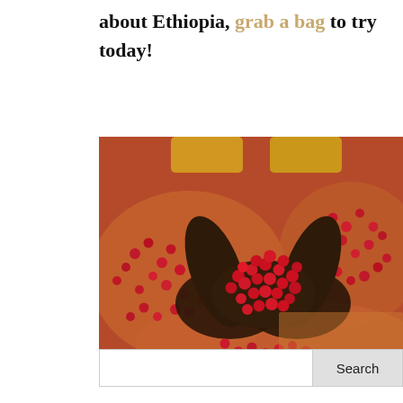about Ethiopia, grab a bag to try today!
[Figure (photo): Hands cupping red coffee cherries above large baskets/bowls filled with red coffee cherries, viewed from above. The person wears a yellow long-sleeved shirt.]
Search